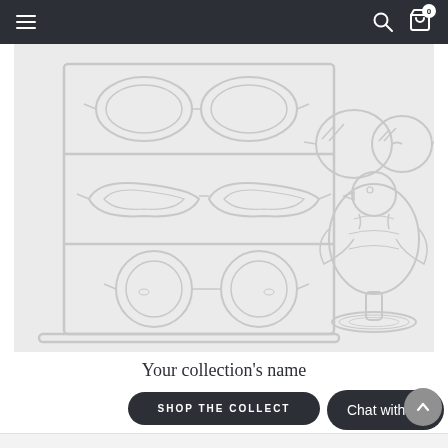Navigation bar with hamburger menu, search icon, and cart icon
[Figure (illustration): Line illustration of eyeglasses display shelf with multiple frames (round, cat-eye, aviator styles) on the left, and a bird-shaped display stand holding large round sunglasses on the right, on a light gray background]
Your collection's name
SHOP THE COLLECT
Chat with us